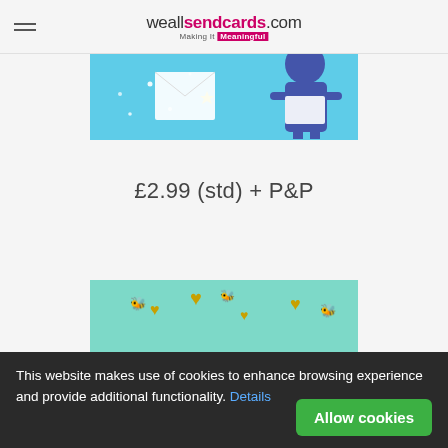weallsendcards.com — Making It Meaningful
[Figure (illustration): Partial view of a greeting card with light blue background showing stars and a figure in a blue outfit holding a card]
£2.99 (std) + P&P
[Figure (illustration): Greeting card with teal background, gold hearts and bees, with cursive 'Thank you so much' text]
This website makes use of cookies to enhance browsing experience and provide additional functionality. Details